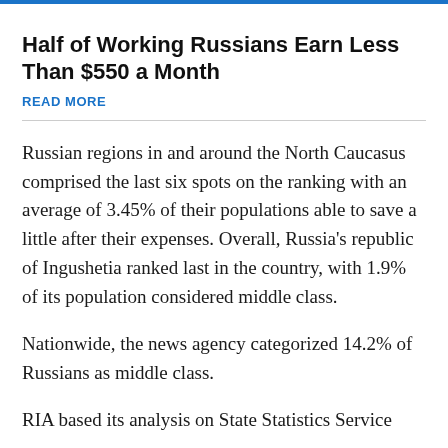Half of Working Russians Earn Less Than $550 a Month
READ MORE
Russian regions in and around the North Caucasus comprised the last six spots on the ranking with an average of 3.45% of their populations able to save a little after their expenses. Overall, Russia's republic of Ingushetia ranked last in the country, with 1.9% of its population considered middle class.
Nationwide, the news agency categorized 14.2% of Russians as middle class.
RIA based its analysis on State Statistics Service